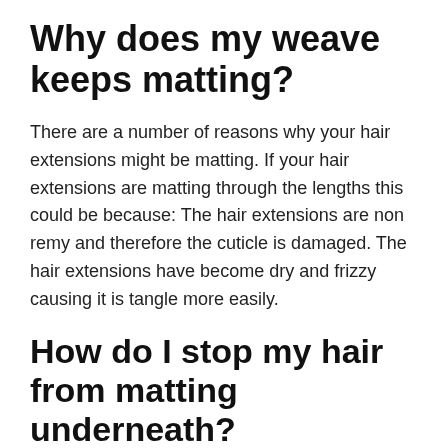Why does my weave keeps matting?
There are a number of reasons why your hair extensions might be matting. If your hair extensions are matting through the lengths this could be because: The hair extensions are non remy and therefore the cuticle is damaged. The hair extensions have become dry and frizzy causing it is tangle more easily.
How do I stop my hair from matting underneath?
How to limit further damage
1. Carefully brush and detangle. Start at...